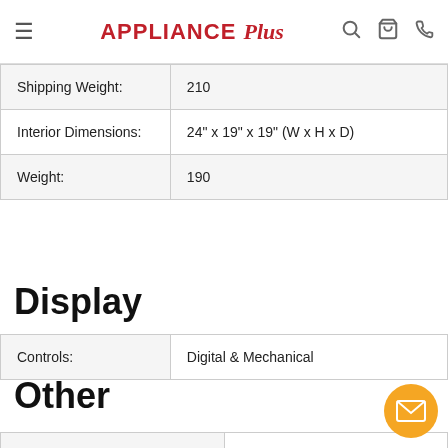APPLIANCE Plus — navigation bar with hamburger menu, search, cart, phone icons
| Shipping Weight: | 210 |
| Interior Dimensions: | 24" x 19" x 19" (W x H x D) |
| Weight: | 190 |
Display
| Controls: | Digital & Mechanical |
Other